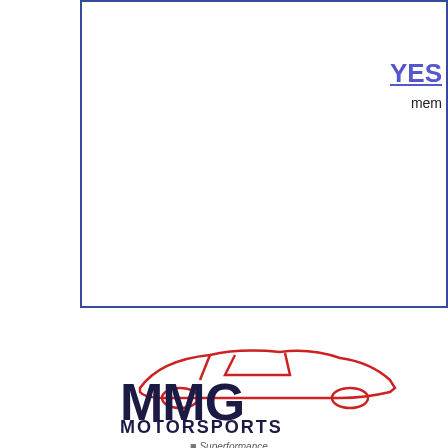[Figure (screenshot): Top white box with border, partially visible, containing YES link and 'mem' text at right side]
[Figure (logo): MMG Motorsports logo with red car silhouette outline and Superformance text]
[Figure (photo): Blue Shelby Cobra replica car parked in parking lot]
[Figure (screenshot): Blue navigation bar - right side partially visible]
Home » Club Cobra Member Gallerie...
Images 13 to 18 of 18    Prev P...
[Figure (photo): Close-up of a chrome/alloy car wheel]
DSC02161
User:    Bluedog
Views:   662
[Figure (photo): Engine bay photo partially visible]
DSC021...
User:    Blu...
Views:   73...
[Figure (logo): Nevada Classics logo with red starburst and red text]
[Figure (photo): Red Shelby Cobra replica with white stripes]